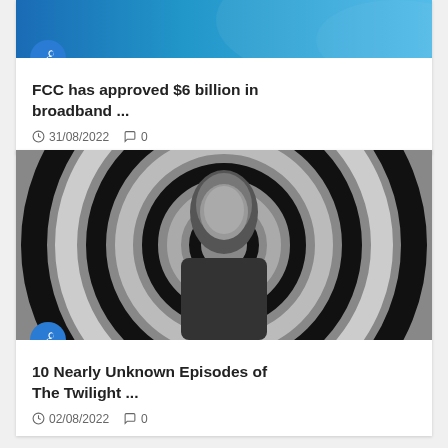[Figure (photo): Blue broadband/network themed image with a blue circle pin icon overlay]
FCC has approved $6 billion in broadband ...
31/08/2022  0
[Figure (photo): Black and white photo of a man (Rod Serling) against a spiral background, with a blue circle pin icon overlay]
10 Nearly Unknown Episodes of The Twilight ...
02/08/2022  0